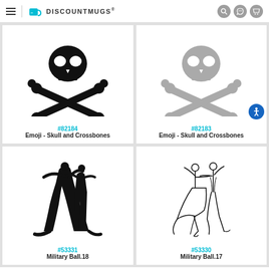DiscountMugs
[Figure (illustration): Black skull and crossbones emoji icon (#82184)]
#82184
Emoji - Skull and Crossbones
[Figure (illustration): Gray skull and crossbones emoji icon (#82183)]
#82183
Emoji - Skull and Crossbones
[Figure (illustration): Black silhouette dancing couple stylized icon (#53331)]
#53331
Military Ball.18
[Figure (illustration): Black line art ballroom dancing couple (#53330)]
#53330
Military Ball.17